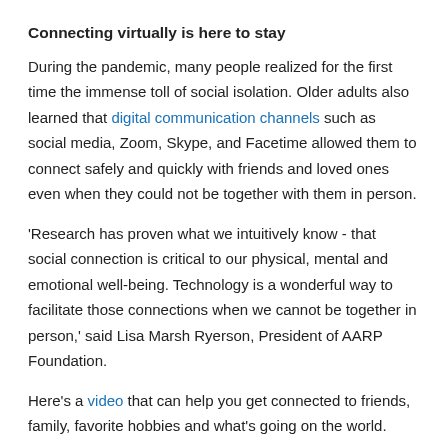Connecting virtually is here to stay
During the pandemic, many people realized for the first time the immense toll of social isolation. Older adults also learned that digital communication channels such as social media, Zoom, Skype, and Facetime allowed them to connect safely and quickly with friends and loved ones even when they could not be together with them in person.
'Research has proven what we intuitively know - that social connection is critical to our physical, mental and emotional well-being. Technology is a wonderful way to facilitate those connections when we cannot be together in person,' said Lisa Marsh Ryerson, President of AARP Foundation.
Here's a video that can help you get connected to friends, family, favorite hobbies and what's going on the world.